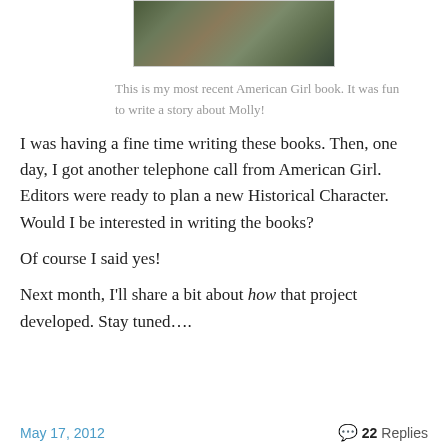[Figure (photo): Photo of an American Girl book cover showing a character in argyle pattern clothing]
This is my most recent American Girl book. It was fun to write a story about Molly!
I was having a fine time writing these books.  Then, one day, I got another telephone call from American Girl.  Editors were ready to plan a new Historical Character.  Would I be interested in writing the books?
Of course I said yes!
Next month, I’ll share a bit about how that project developed.  Stay tuned….
May 17, 2012    22 Replies